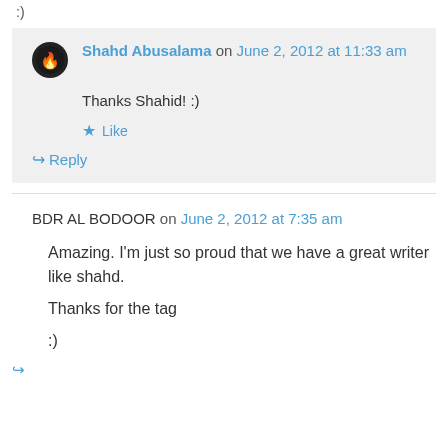:)
Shahd Abusalama on June 2, 2012 at 11:33 am
Thanks Shahid! :)
★ Like
↪ Reply
BDR AL BODOOR on June 2, 2012 at 7:35 am
Amazing. I'm just so proud that we have a great writer like shahd.
Thanks for the tag
:)